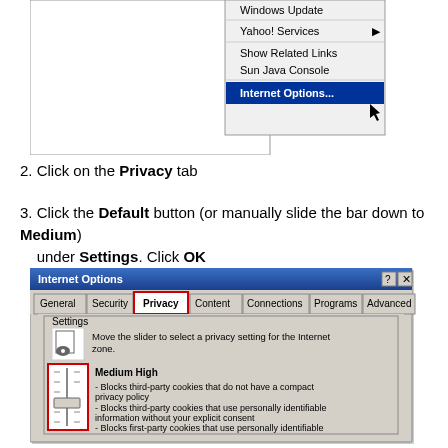[Figure (screenshot): Browser toolbar context menu showing Yahoo! Services, Show Related Links, Sun Java Console, and Internet Options... (highlighted in blue with cursor)]
2. Click on the Privacy tab
3. Click the Default button (or manually slide the bar down to Medium) under Settings. Click OK
[Figure (screenshot): Internet Explorer Internet Options dialog box showing the Privacy tab selected (highlighted with red box), Settings section with slider showing Medium High level, text describing cookie blocking behavior]